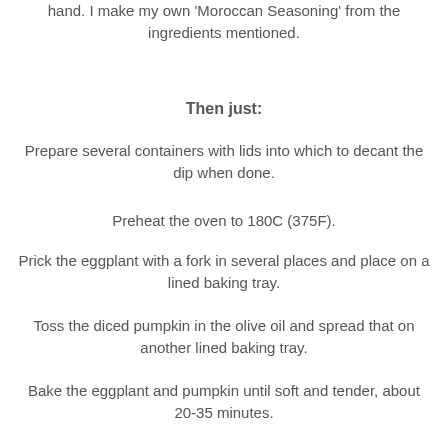hand. I make my own 'Moroccan Seasoning' from the ingredients mentioned.
Then just:
Prepare several containers with lids into which to decant the dip when done.
Preheat the oven to 180C (375F).
Prick the eggplant with a fork in several places and place on a lined baking tray.
Toss the diced pumpkin in the olive oil and spread that on another lined baking tray.
Bake the eggplant and pumpkin until soft and tender, about 20-35 minutes.
Remove from the oven and allow to cool. When the eggplants are cool enough to handle, peel the skin from them, discarding it, and chop the flesh roughly.